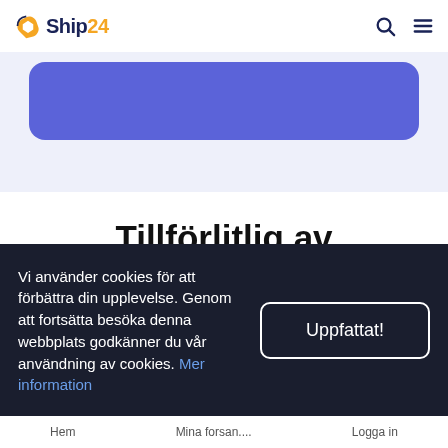Ship24
[Figure (other): Purple/indigo rounded rectangle button area on light blue-grey background]
Tillförlitlig av logistikföretag, marknadsplatser och säljare
Vi använder cookies för att förbättra din upplevelse. Genom att fortsätta besöka denna webbplats godkänner du vår användning av cookies. Mer information
Hem   Mina forsan....   Logga in